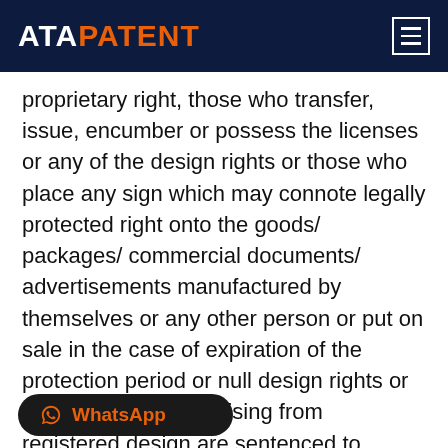ATA PATENT
proprietary right, those who transfer, issue, encumber or possess the licenses or any of the design rights or those who place any sign which may connote legally protected right onto the goods/ packages/ commercial documents/ advertisements manufactured by themselves or any other person or put on sale in the case of expiration of the protection period or null design rights or cease of the rights arising from registered design are sentenced to fines. In addition to the imprisonment and fines, in the case of